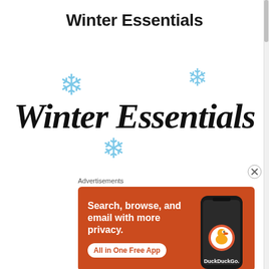Winter Essentials
[Figure (illustration): Decorative script text 'Winter Essentials' in large italic black cursive font with three blue snowflake icons surrounding it]
Advertisements
[Figure (other): DuckDuckGo advertisement banner: orange background with text 'Search, browse, and email with more privacy. All in One Free App' and a smartphone showing the DuckDuckGo app]